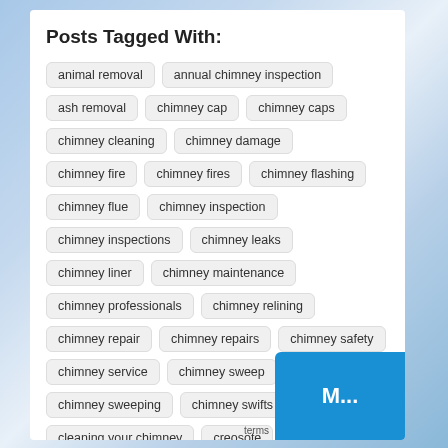Posts Tagged With:
animal removal
annual chimney inspection
ash removal
chimney cap
chimney caps
chimney cleaning
chimney damage
chimney fire
chimney fires
chimney flashing
chimney flue
chimney inspection
chimney inspections
chimney leaks
chimney liner
chimney maintenance
chimney professionals
chimney relining
chimney repair
chimney repairs
chimney safety
chimney service
chimney sweep
chimney sweeping
chimney swifts
cleaning your chimney
creosote
creosote buildup
csia certified
damper
dryer vent cleaning
fireplace
fireplace maintenance
fire preve…